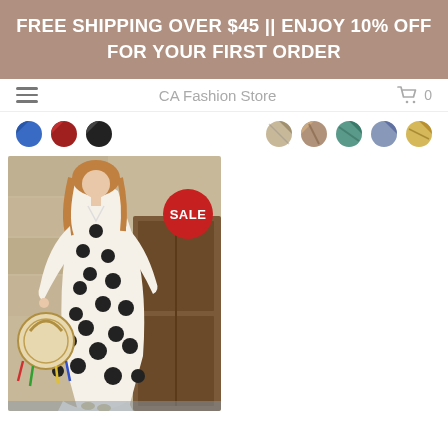FREE SHIPPING OVER $45 || ENJOY 10% OFF FOR YOUR FIRST ORDER
CA Fashion Store  🛒 0
[Figure (photo): Color swatches row: blue, dark red, black on left; multicolor/patterned swatches on right]
[Figure (photo): Woman wearing a white maxi dress with large black polka dots, long sleeves, holding a round wicker bag with colorful tassels, standing in front of a wooden door. A red SALE badge is overlaid on the upper right of the dress.]